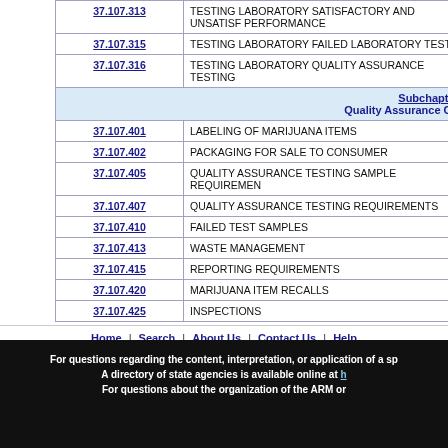| Section | Title |
| --- | --- |
| 37.107.313 | TESTING LABORATORY SATISFACTORY AND UNSATISFACTORY PERFORMANCE |
| 37.107.315 | TESTING LABORATORY FAILED LABORATORY TEST SA... |
| 37.107.316 | TESTING LABORATORY QUALITY ASSURANCE TESTING... |
| Subchapter 4 | Quality Assurance Com... |
| 37.107.401 | LABELING OF MARIJUANA ITEMS |
| 37.107.402 | PACKAGING FOR SALE TO CONSUMER |
| 37.107.405 | QUALITY ASSURANCE TESTING SAMPLE REQUIREMEN... |
| 37.107.407 | QUALITY ASSURANCE TESTING REQUIREMENTS |
| 37.107.410 | FAILED TEST SAMPLES |
| 37.107.413 | WASTE MANAGEMENT |
| 37.107.415 | REPORTING REQUIREMENTS |
| 37.107.420 | MARIJUANA ITEM RECALLS |
| 37.107.425 | INSPECTIONS |
Home | Search | About Us | Contact Us | Help
For questions regarding the content, interpretation, or application of a sp... A directory of state agencies is available online at h... For questions about the organization of the ARM or...